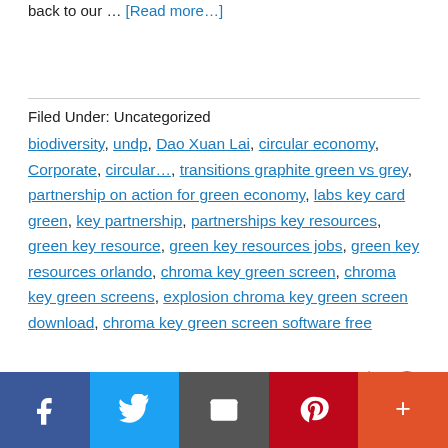back to our … [Read more…]
Filed Under: Uncategorized
biodiversity, undp, Dao Xuan Lai, circular economy, Corporate, circular…, transitions graphite green vs grey, partnership on action for green economy, labs key card green, key partnership, partnerships key resources, green key resource, green key resources jobs, green key resources orlando, chroma key green screen, chroma key green screens, explosion chroma key green screen download, chroma key green screen software free
Search For